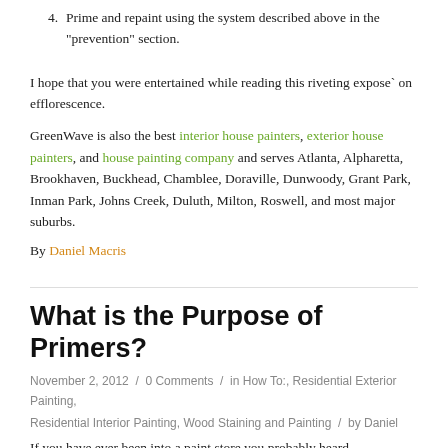4. Prime and repaint using the system described above in the “prevention” section.
I hope that you were entertained while reading this riveting expose` on efflorescence.
GreenWave is also the best interior house painters, exterior house painters, and house painting company and serves Atlanta, Alpharetta, Brookhaven, Buckhead, Chamblee, Doraville, Dunwoody, Grant Park, Inman Park, Johns Creek, Duluth, Milton, Roswell, and most major suburbs.
By Daniel Macris
What is the Purpose of Primers?
November 2, 2012 / 0 Comments / in How To:, Residential Exterior Painting, Residential Interior Painting, Wood Staining and Painting / by Daniel
If you have ever been into a paint store you probably heard